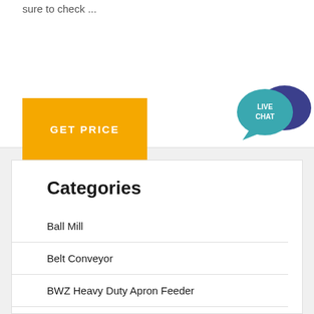sure to check ...
[Figure (other): Orange GET PRICE button and Live Chat speech bubble icon]
Categories
Ball Mill
Belt Conveyor
BWZ Heavy Duty Apron Feeder
CS Cone Crusher
Flotation Machine
Hammer Crusher